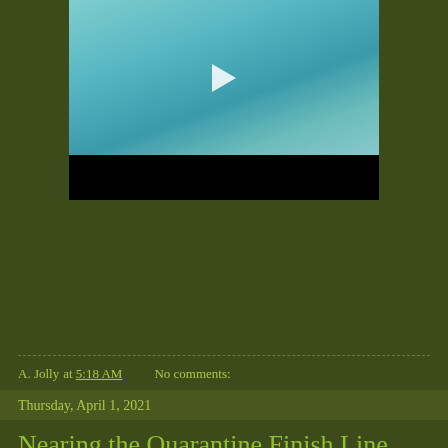[Figure (screenshot): Video thumbnail showing an underwater/teal scene with a play button, topped by a black bar below]
A. Jolly at 5:18 AM    No comments:
Thursday, April 1, 2021
Nearing the Quarantine Finish Line
[Figure (photo): Partial photo at the bottom of the page, brownish tones, partially visible]